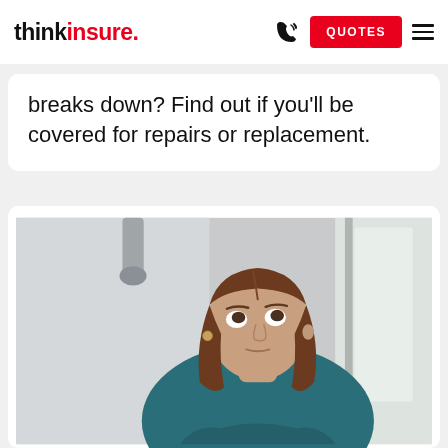thinkinsure. [phone icon] QUOTES [menu icon]
breaks down? Find out if you'll be covered for repairs or replacement.
[Figure (photo): A young person with shoulder-length brown hair wrapped in a teal/blue blanket or coat, looking upward with a concerned or cold expression, photographed indoors against a light grey wall background.]